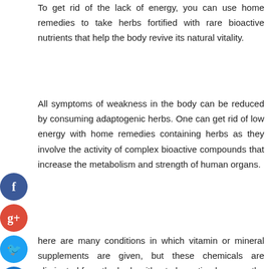To get rid of the lack of energy, you can use home remedies to take herbs fortified with rare bioactive nutrients that help the body revive its natural vitality.
All symptoms of weakness in the body can be reduced by consuming adaptogenic herbs. One can get rid of low energy with home remedies containing herbs as they involve the activity of complex bioactive compounds that increase the metabolism and strength of human organs.
There are many conditions in which vitamin or mineral supplements are given, but these chemicals are eliminated from the body without absorption because the chemicals do not contain preservative compounds that can increase the absorption of mineral or vitamin supplements.